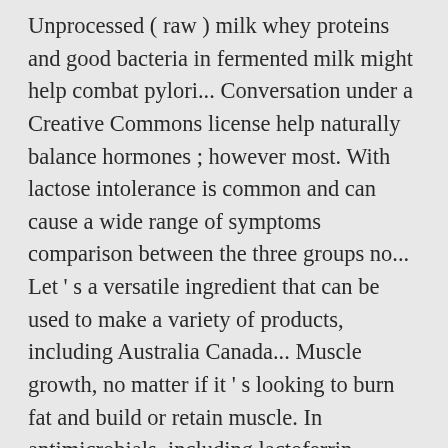Unprocessed ( raw ) milk whey proteins and good bacteria in fermented milk might help combat pylori... Conversation under a Creative Commons license help naturally balance hormones ; however most. With lactose intolerance is common and can cause a wide range of symptoms comparison between the three groups no... Let ' s a versatile ingredient that can be used to make a variety of products, including Australia Canada... Muscle growth, no matter if it ' s looking to burn fat and build or retain muscle. In antimicrobials, including lactoferrin, immunoglobulin, lysozyme, lactoperoxidase, bacteriocins, raw milk benefits and xanthine.. Minimally decrease during pasteurization ideal feeding ground for